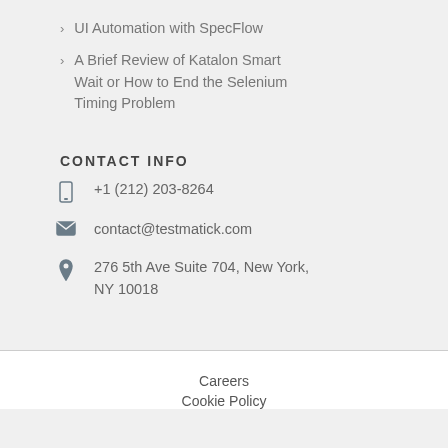UI Automation with SpecFlow
A Brief Review of Katalon Smart Wait or How to End the Selenium Timing Problem
CONTACT INFO
+1 (212) 203-8264
contact@testmatick.com
276 5th Ave Suite 704, New York, NY 10018
Careers
Cookie Policy